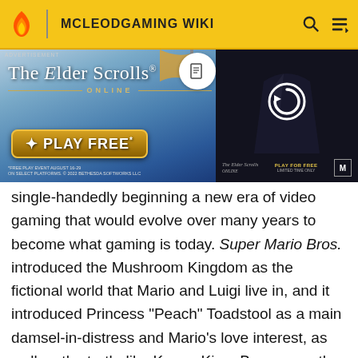MCLEODGAMING WIKI
[Figure (screenshot): Advertisement for The Elder Scrolls Online - Play Free event. Shows game art with knights and a video thumbnail panel on the right with a reload icon and 'Play For Free Limited Time Only' text.]
single-handedly beginning a new era of video gaming that would evolve over many years to become what gaming is today. Super Mario Bros. introduced the Mushroom Kingdom as the fictional world that Mario and Luigi live in, and it introduced Princess "Peach" Toadstool as a main damsel-in-distress and Mario's love interest, as well as the turtle-like Koopa King, Bowser, as the consistent series nemesis, along with many other Mario-related elements such as Super Mushrooms and Starmen as